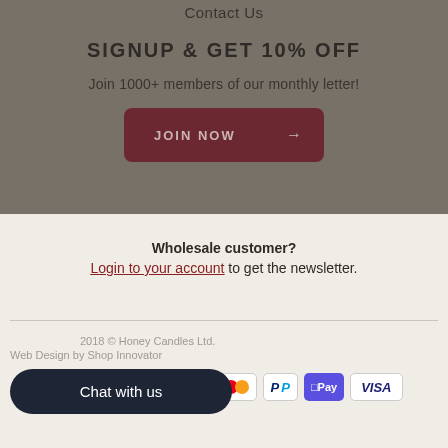Contact Us
SIGNUP & GET 10% OFF
Join 1000+ members of our monthly letter!
JOIN NOW →
Wholesale customer?
Login to your account to get the newsletter.
2018 © Honey Candles Ltd.
Web Design by Shop Innovator
[Figure (infographic): Payment icons: Apple Pay, Google Pay, Mastercard, PayPal, OPay, VISA]
Chat with us